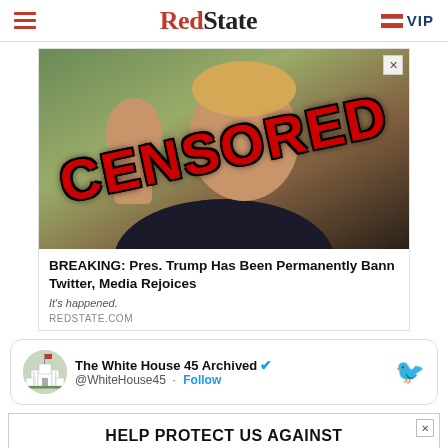RedState | VIP
[Figure (photo): Photo of a person waving with red CENSORED text overlaid diagonally, shown as an advertisement card with headline 'BREAKING: Pres. Trump Has Been Permanently Bann Twitter, Media Rejoices' and source 'REDSTATE.COM']
BREAKING: Pres. Trump Has Been Permanently Bann Twitter, Media Rejoices
It's happened.
REDSTATE.COM
[Figure (screenshot): Tweet card from The White House 45 Archived @WhiteHouse45 with Follow button and Twitter bird logo]
The White House 45 Archived @WhiteHouse45 · Follow
[Figure (infographic): Advertisement banner reading HELP PROTECT US AGAINST BIG TECH CENSORSHIP]
holiday to Americans earning less than